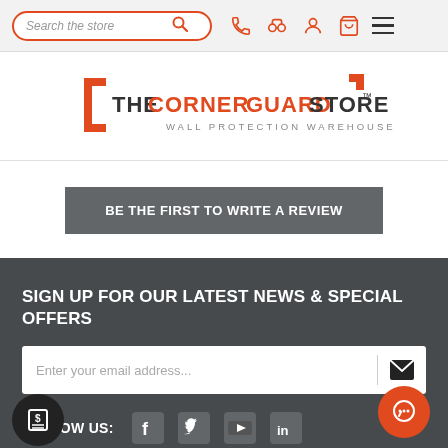Search the store | navigation icons | hamburger menu
[Figure (logo): The Corner Guard Store - Wall Protection Warehouse logo with orange bracket and geometric mark]
BE THE FIRST TO WRITE A REVIEW
SIGN UP FOR OUR LATEST NEWS & SPECIAL OFFERS
Enter your email address...
FOLLOW US: